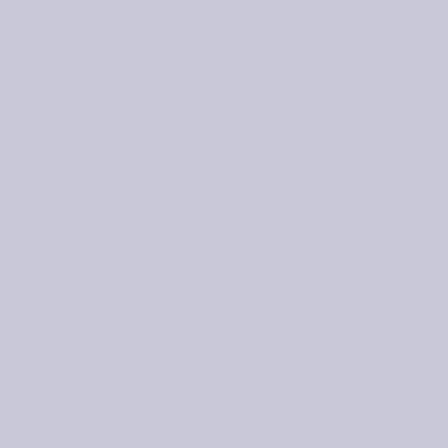mustn't be too negative th
[Figure (photo): A rustic wooden structure with log beams and a grass/sod roof, surrounded by lush green vegetation and trees. Natural building with large windows visible.]
02 Jan 2018
2017 - Music of the year - Th